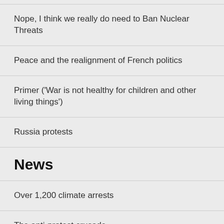Nope, I think we really do need to Ban Nuclear Threats
Peace and the realignment of French politics
Primer ('War is not healthy for children and other living things')
Russia protests
News
Over 1,200 climate arrests
The anti-protest crusade
Ukraine peace negotiations...